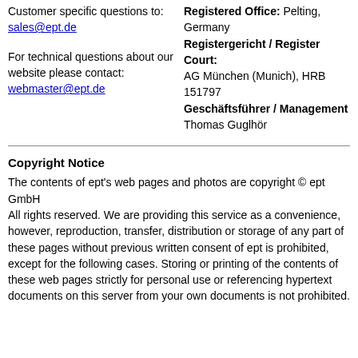Customer specific questions to:
sales@ept.de
For technical questions about our website please contact:
webmaster@ept.de
Registered Office: Pelting, Germany
Registergericht / Register Court:
AG München (Munich), HRB 151797
Geschäftsführer / Management
Thomas Guglhör
Copyright Notice
The contents of ept's web pages and photos are copyright © ept GmbH
All rights reserved. We are providing this service as a convenience, however, reproduction, transfer, distribution or storage of any part of these pages without previous written consent of ept is prohibited, except for the following cases. Storing or printing of the contents of these web pages strictly for personal use or referencing hypertext documents on this server from your own documents is not prohibited.